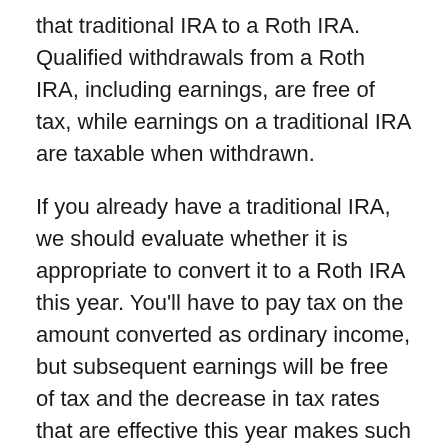that traditional IRA to a Roth IRA. Qualified withdrawals from a Roth IRA, including earnings, are free of tax, while earnings on a traditional IRA are taxable when withdrawn.
If you already have a traditional IRA, we should evaluate whether it is appropriate to convert it to a Roth IRA this year. You'll have to pay tax on the amount converted as ordinary income, but subsequent earnings will be free of tax and the decrease in tax rates that are effective this year makes such a conversion less costly than it would have been in previous years. Of course, this option only makes sense if the tax rates when the money is withdrawn from the Roth IRA are anticipated to be higher than the tax rates when the traditional IRA is converted. And if you have a traditional 401(k), 403(b), or 457 plan that includes after-tax contributions, you can generally rollover these after-tax amounts to a Roth IRA with no tax.